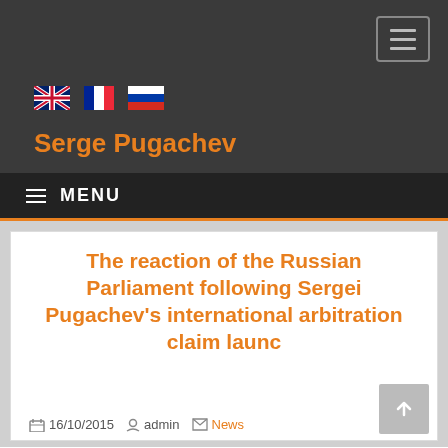[Figure (screenshot): Website header with dark background showing hamburger menu button, flag icons (UK, France, Russia), site title 'Serge Pugachev' in orange, and a dark navigation menu bar with 'MENU' text and orange bottom border]
The reaction of the Russian Parliament following Sergei Pugachev's international arbitration claim launc
16/10/2015  admin  News